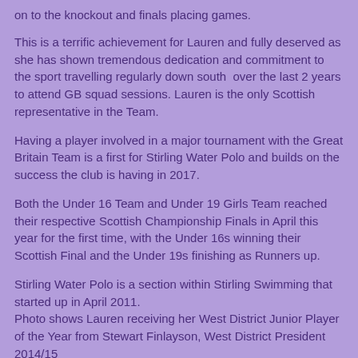on to the knockout and finals placing games.
This is a terrific achievement for Lauren and fully deserved as she has shown tremendous dedication and commitment to the sport travelling regularly down south over the last 2 years to attend GB squad sessions. Lauren is the only Scottish representative in the Team.
Having a player involved in a major tournament with the Great Britain Team is a first for Stirling Water Polo and builds on the success the club is having in 2017.
Both the Under 16 Team and Under 19 Girls Team reached their respective Scottish Championship Finals in April this year for the first time, with the Under 16s winning their Scottish Final and the Under 19s finishing as Runners up.
Stirling Water Polo is a section within Stirling Swimming that started up in April 2011.
Photo shows Lauren receiving her West District Junior Player of the Year from Stewart Finlayson, West District President 2014/15